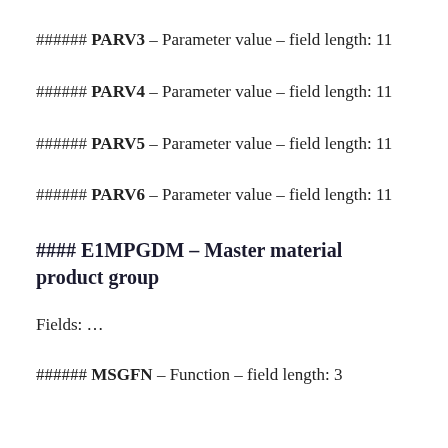###### PARV3 – Parameter value – field length: 11
###### PARV4 – Parameter value – field length: 11
###### PARV5 – Parameter value – field length: 11
###### PARV6 – Parameter value – field length: 11
#### E1MPGDM – Master material product group
Fields: ...
###### MSGFN – Function – field length: 3